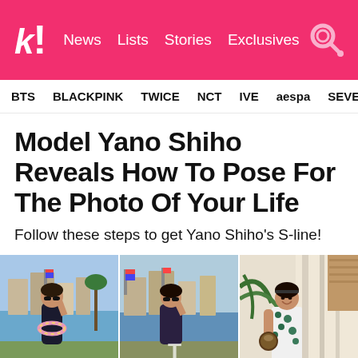k! News Lists Stories Exclusives [search]
BTS BLACKPINK TWICE NCT IVE aespa SEVE
Model Yano Shiho Reveals How To Pose For The Photo Of Your Life
Follow these steps to get Yano Shiho's S-line!
[Figure (photo): Three photos of model Yano Shiho posing outdoors: two in a black swimsuit with a lei near water, and one in a white floral top holding a coconut.]